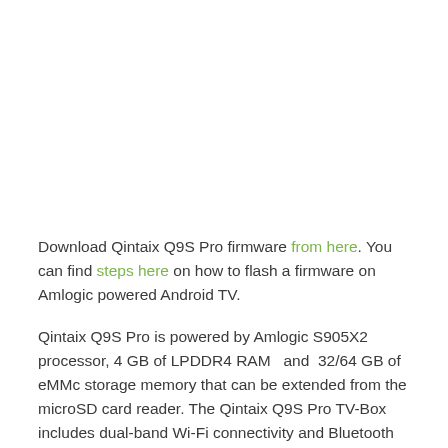[Figure (photo): White/blank image area at the top of the page]
Download Qintaix Q9S Pro firmware from here. You can find steps here on how to flash a firmware on Amlogic powered Android TV.
Qintaix Q9S Pro is powered by Amlogic S905X2 processor, 4 GB of LPDDR4 RAM  and  32/64 GB of eMMc storage memory that can be extended from the microSD card reader. The Qintaix Q9S Pro TV-Box includes dual-band Wi-Fi connectivity and Bluetooth